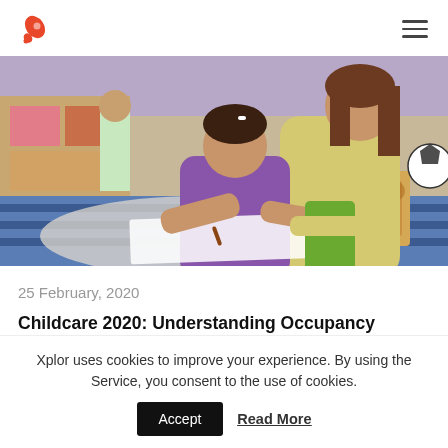Xplor logo and navigation
[Figure (photo): Teacher and young child drawing together on the floor in a childcare classroom, with other children visible in the background. Colorful classroom setting with blue striped rug, toys and wooden shape sorter.]
25 February, 2020
Childcare 2020: Understanding Occupancy
Xplor uses cookies to improve your experience. By using the Service, you consent to the use of cookies.
Accept   Read More